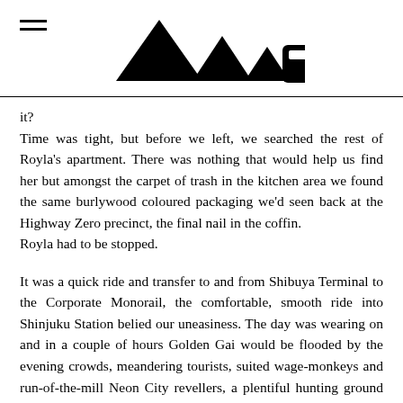[hamburger menu icon] [logo: four triangles and a rounded shape]
it?
Time was tight, but before we left, we searched the rest of Royla's apartment. There was nothing that would help us find her but amongst the carpet of trash in the kitchen area we found the same burlywood coloured packaging we'd seen back at the Highway Zero precinct, the final nail in the coffin.
Royla had to be stopped.

It was a quick ride and transfer to and from Shibuya Terminal to the Corporate Monorail, the comfortable, smooth ride into Shinjuku Station belied our uneasiness. The day was wearing on and in a couple of hours Golden Gai would be flooded by the evening crowds, meandering tourists, suited wage-monkeys and run-of-the-mill Neon City revellers, a plentiful hunting ground for The Snot Robber and a nightmare for us, Golden Gai's topographical maze didn't help
In the east, the cloudless blue-white sky was beginning to fail,